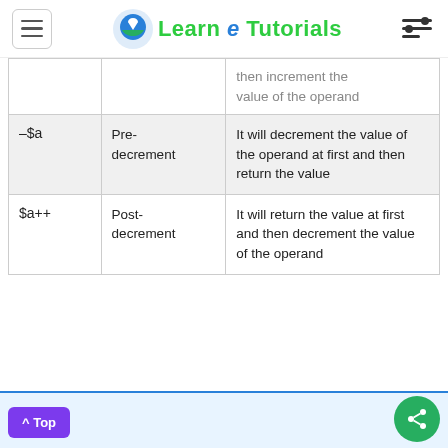Learn e Tutorials
| Operator | Name | Description |
| --- | --- | --- |
|  |  | then increment the value of the operand |
| –$a | Pre-decrement | It will decrement the value of the operand at first and then return the value |
| $a++ | Post-decrement | It will return the value at first and then decrement the value of the operand |
^ Top